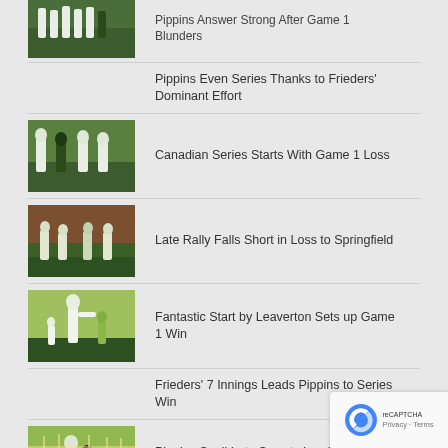Pippins Answer Strong After Game 1 Blunders
Pippins Even Series Thanks to Frieders' Dominant Effort
Canadian Series Starts With Game 1 Loss
Late Rally Falls Short in Loss to Springfield
Fantastic Start by Leaverton Sets up Game 1 Win
Frieders' 7 Innings Leads Pippins to Series Win
Pippins Spoil Late Sweets Lead in Game 1 Win